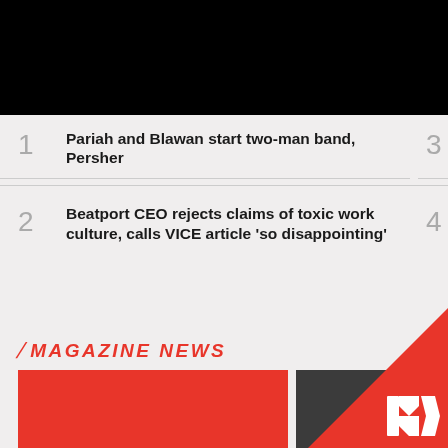1 Pariah and Blawan start two-man band, Persher
2 Beatport CEO rejects claims of toxic work culture, calls VICE article 'so disappointing'
3 Amsterdam opening w...
4 Eliza Rose Criminal h... with 'B.O.... All)'
MAGAZINE NEWS
[Figure (photo): Red thumbnail image]
[Figure (photo): Dark thumbnail image with red triangle and RA logo overlay]